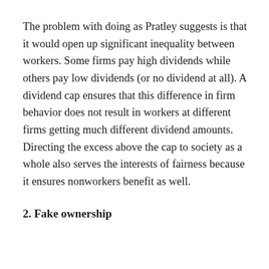The problem with doing as Pratley suggests is that it would open up significant inequality between workers. Some firms pay high dividends while others pay low dividends (or no dividend at all). A dividend cap ensures that this difference in firm behavior does not result in workers at different firms getting much different dividend amounts. Directing the excess above the cap to society as a whole also serves the interests of fairness because it ensures nonworkers benefit as well.
2. Fake ownership